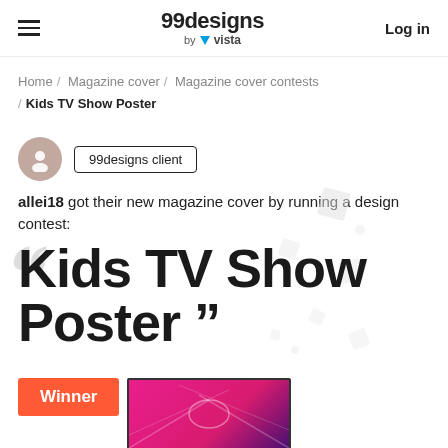99designs by vista | Log in
Home / Magazine cover / Magazine cover contests / Kids TV Show Poster
99designs client
allei18 got their new magazine cover by running a design contest:
Kids TV Show Poster
[Figure (illustration): Winner badge in orange-red with a magenta/pink design preview image below]